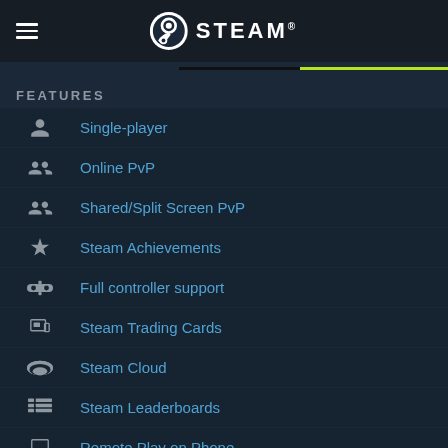STEAM
FEATURES
Single-player
Online PvP
Shared/Split Screen PvP
Steam Achievements
Full controller support
Steam Trading Cards
Steam Cloud
Steam Leaderboards
Remote Play on Phone
Remote Play on Tablet